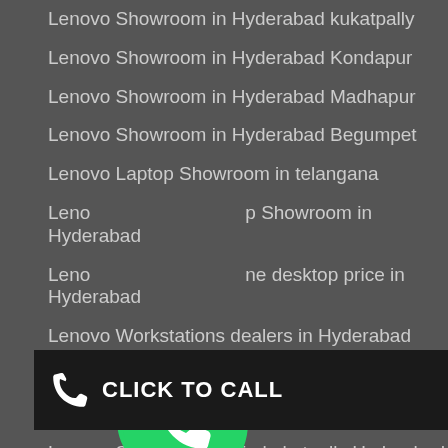Lenovo Showroom in Hyderabad kukatpally
Lenovo Showroom in Hyderabad Kondapur
Lenovo Showroom in Hyderabad Madhapur
Lenovo Showroom in Hyderabad Begumpet
Lenovo Laptop Showroom in telangana
Lenovo Laptop Showroom in Hyderabad
Lenovo All One desktop price in Hyderabad
Lenovo Workstations dealers in Hyderabad
Lenovo Laptops price in telangana
Lenovo Laptop service in Hyderabad Kondapur
Lenovo Service center in kukatpally Hyderabad
Lenovo Service center in Kondapur Hyderabad
Lenovo Service center in Ameerpet Hyderabad
[Figure (logo): WhatsApp green logo icon]
[Figure (infographic): Click to Call button with phone icon]
Lenovo Showroom in Bangalore